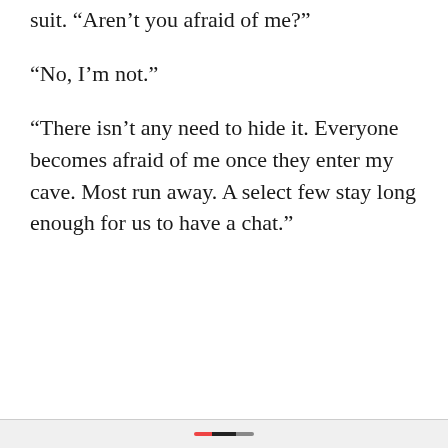suit. “Aren’t you afraid of me?”
“No, I’m not.”
“There isn’t any need to hide it. Everyone becomes afraid of me once they enter my cave. Most run away. A select few stay long enough for us to have a chat.”
Privacy & Cookies: This site uses cookies. By continuing to use this website, you agree to their use.
To find out more, including how to control cookies, see here: Cookie Policy
Close and accept